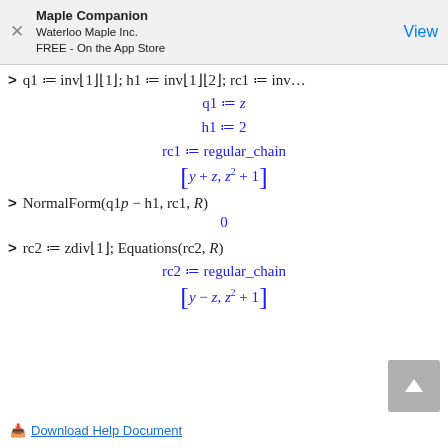Maple Companion
Waterloo Maple Inc.
FREE - On the App Store
Download Help Document